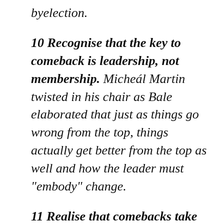byelection.
10 Recognise that the key to comeback is leadership, not membership. Micheál Martin twisted in his chair as Bale elaborated that just as things go wrong from the top, things actually get better from the top as well and how the leader must “embody” change.
11 Realise that comebacks take two or three parliamentary